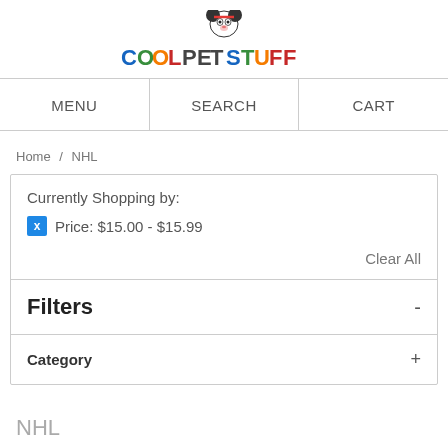[Figure (logo): Cool Pet Stuff logo with cartoon animal character above colorful text]
MENU   SEARCH   CART
Home / NHL
Currently Shopping by:
Price: $15.00 - $15.99
Clear All
Filters -
Category +
NHL